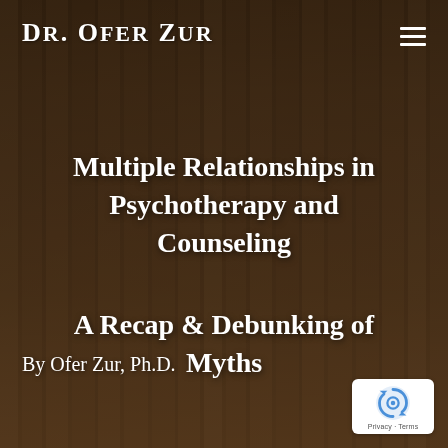Dr. Ofer Zur
Multiple Relationships in Psychotherapy and Counseling
A Recap & Debunking of Myths
By Ofer Zur, Ph.D.
[Figure (logo): reCAPTCHA badge with Privacy and Terms text]